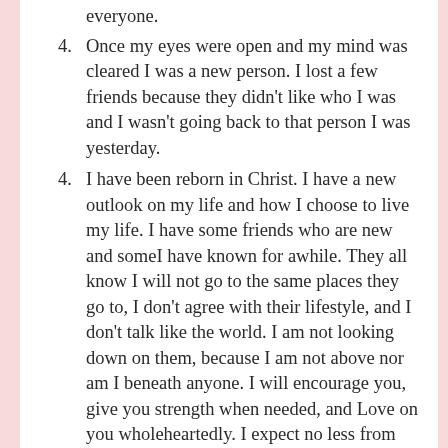everyone.
Once my eyes were open and my mind was cleared I was a new person. I lost a few friends because they didn't like who I was and I wasn't going back to that person I was yesterday.
I have been reborn in Christ. I have a new outlook on my life and how I choose to live my life. I have some friends who are new and someI have known for awhile. They all know I will not go to the same places they go to, I don't agree with their lifestyle, and I don't talk like the world. I am not looking down on them, because I am not above nor am I beneath anyone. I will encourage you, give you strength when needed, and Love on you wholeheartedly. I expect no less from family or friends. I CANNOT and WILL NOT allow anyone in my life who doesn't understand this, because WORDS are hurtful. I am so much more and I am NOT lonely where I would allow anyone to treat me less than how I treat them I am LOVED and I LOVE